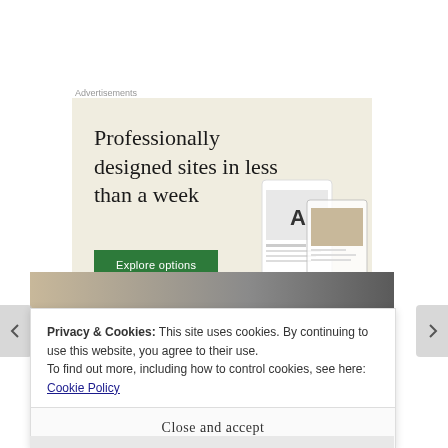Advertisements
[Figure (illustration): Advertisement banner with beige background showing text 'Professionally designed sites in less than a week' with a green 'Explore options' button and mockup UI screenshots on the right]
[Figure (photo): Partial image strip showing what appears to be a food or lifestyle photo]
Privacy & Cookies: This site uses cookies. By continuing to use this website, you agree to their use.
To find out more, including how to control cookies, see here: Cookie Policy
Close and accept